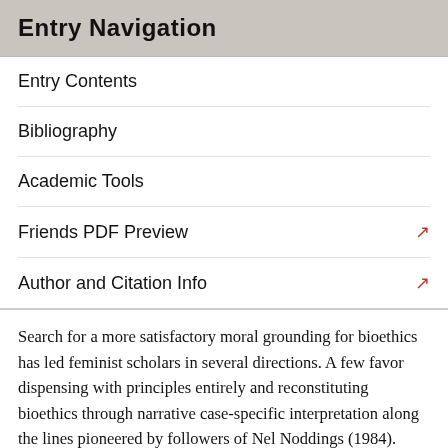Entry Navigation
Entry Contents
Bibliography
Academic Tools
Friends PDF Preview
Author and Citation Info
Search for a more satisfactory moral grounding for bioethics has led feminist scholars in several directions. A few favor dispensing with principles entirely and reconstituting bioethics through narrative case-specific interpretation along the lines pioneered by followers of Nel Noddings (1984). Some remain convinced that narrative approaches have useful applications in bioethics though they should not be the only tool in the methodological toolbox (e.g. Nelson 2001). Others have criticized the abstract universal approach to theory